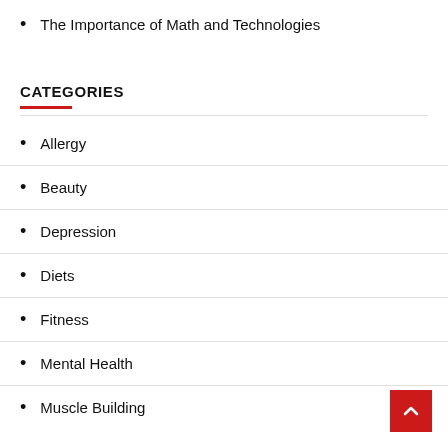The Importance of Math and Technologies
CATEGORIES
Allergy
Beauty
Depression
Diets
Fitness
Mental Health
Muscle Building